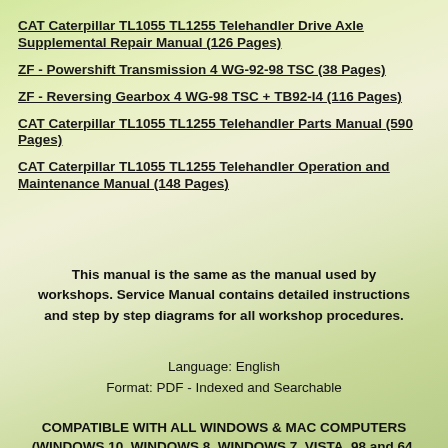CAT Caterpillar TL1055 TL1255 Telehandler Drive Axle Supplemental Repair Manual (126 Pages)
ZF - Powershift Transmission 4 WG-92-98 TSC (38 Pages)
ZF - Reversing Gearbox 4 WG-98 TSC + TB92-I4 (116 Pages)
CAT Caterpillar TL1055 TL1255 Telehandler Parts Manual (590 Pages)
CAT Caterpillar TL1055 TL1255 Telehandler Operation and Maintenance Manual (148 Pages)
This manual is the same as the manual used by workshops. Service Manual contains detailed instructions and step by step diagrams for all workshop procedures.
Language: English
Format: PDF - Indexed and Searchable
COMPATIBLE WITH ALL WINDOWS & MAC COMPUTERS (WINDOWS 10, WINDOWS 8, WINDOWS 7, VISTA, 98 and 64, XP...